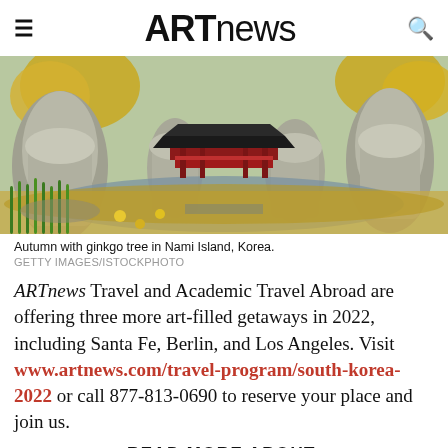ARTnews
[Figure (photo): Autumn scene with ginkgo trees and a traditional Korean pavilion among tall rock formations at Nami Island, Korea. Yellow fallen leaves cover the ground; green reeds and water in the foreground.]
Autumn with ginkgo tree in Nami Island, Korea.
GETTY IMAGES/ISTOCKPHOTO
ARTnews Travel and Academic Travel Abroad are offering three more art-filled getaways in 2022, including Santa Fe, Berlin, and Los Angeles. Visit www.artnews.com/travel-program/south-korea-2022 or call 877-813-0690 to reserve your place and join us.
READ MORE ABOUT: